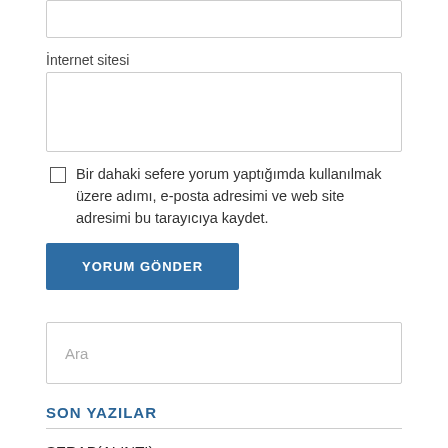İnternet sitesi
[Figure (other): Input text box for internet sitesi (website) field]
Bir dahaki sefere yorum yaptığımda kullanılmak üzere adımı, e-posta adresimi ve web site adresimi bu tarayıcıya kaydet.
YORUM GÖNDER
Ara
SON YAZILAR
SERAP(ALINTI)
Buz, Viski, Çikolata Sosu ve Hostesim (2)
dumb-horny-jock-wrestlers
dumb-horny-jock-neighbor